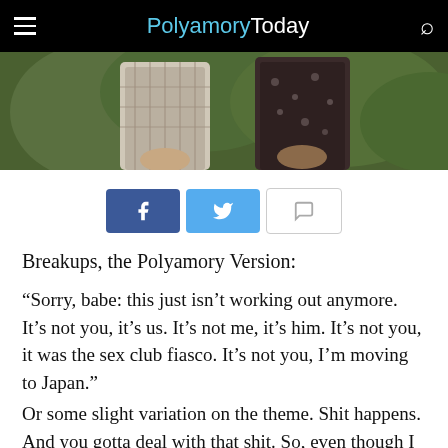PolyamoryToday
[Figure (photo): Cropped photo showing two people standing side by side outdoors, torsos visible, against a green leafy background. One wearing a plaid shirt, the other a dark floral top.]
[Figure (infographic): Three share buttons: Facebook (blue), Twitter (light blue), and comment (white/gray outline) buttons]
Breakups, the Polyamory Version:
“Sorry, babe: this just isn’t working out anymore. It’s not you, it’s us. It’s not me, it’s him. It’s not you, it was the sex club fiasco. It’s not you, I’m moving to Japan.”
Or some slight variation on the theme. Shit happens. And you gotta deal with that shit. So, even though I